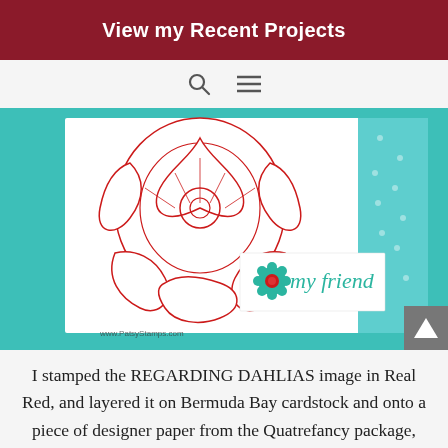View my Recent Projects
[Figure (photo): Close-up photograph of a handmade greeting card featuring a large REGARDING DAHLIAS stamp image in red ink on white cardstock, layered on Bermuda Bay (teal/turquoise) cardstock with a patterned designer paper background. The card includes a teal flower embellishment with a red brad and the text 'my friend' in teal script. A watermark reads www.PatsyStamps.com.]
I stamped the REGARDING DAHLIAS image in Real Red, and layered it on Bermuda Bay cardstock and onto a piece of designer paper from the Quatrefancy package, then on a